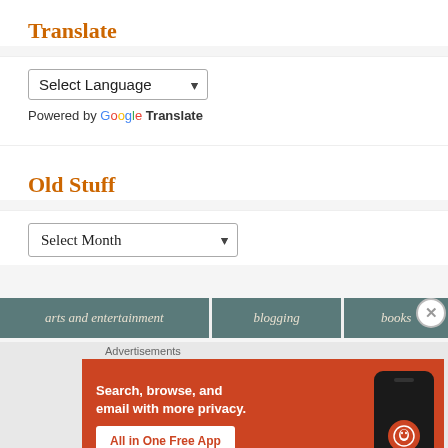Translate
Select Language
Powered by Google Translate
Old Stuff
Select Month
arts and entertainment
blogging
books
Advertisements
[Figure (screenshot): DuckDuckGo advertisement banner: 'Search, browse, and email with more privacy. All in One Free App' on orange background with phone graphic]